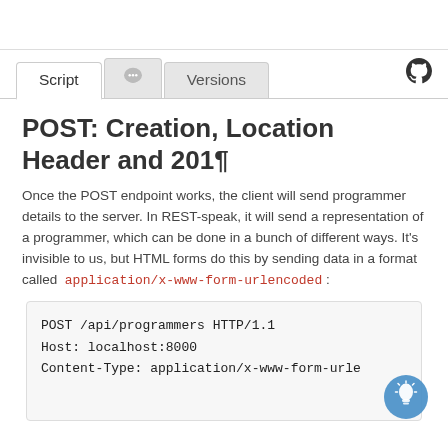Script | Versions
POST: Creation, Location Header and 201¶
Once the POST endpoint works, the client will send programmer details to the server. In REST-speak, it will send a representation of a programmer, which can be done in a bunch of different ways. It's invisible to us, but HTML forms do this by sending data in a format called application/x-www-form-urlencoded:
POST /api/programmers HTTP/1.1
Host: localhost:8000
Content-Type: application/x-www-form-urle